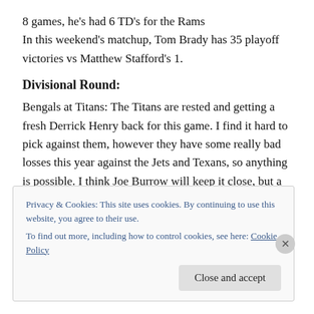8 games, he's had 6 TD's for the Rams
In this weekend's matchup, Tom Brady has 35 playoff victories vs Matthew Stafford's 1.
Divisional Round:
Bengals at Titans: The Titans are rested and getting a fresh Derrick Henry back for this game. I find it hard to pick against them, however they have some really bad losses this year against the Jets and Texans, so anything is possible. I think Joe Burrow will keep it close, but a late INT will seal it. TEN 27, CIN 21
Privacy & Cookies: This site uses cookies. By continuing to use this website, you agree to their use.
To find out more, including how to control cookies, see here: Cookie Policy
Close and accept